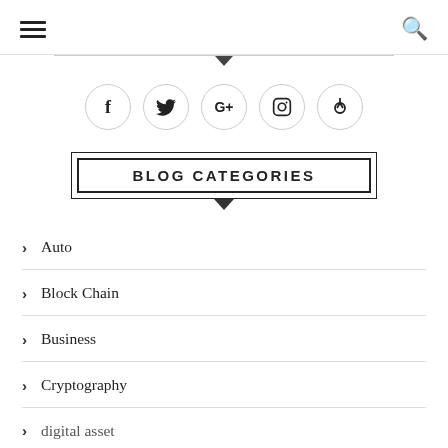Navigation header with hamburger menu and search icon
[Figure (illustration): Horizontal divider line with downward pointing arrow/chevron centered below it]
[Figure (illustration): Row of 5 social media icon circles: Facebook (f), Twitter (bird), Google+ (G+), Instagram (camera), Pinterest (p)]
BLOG CATEGORIES
Auto
Block Chain
Business
Cryptography
digital asset